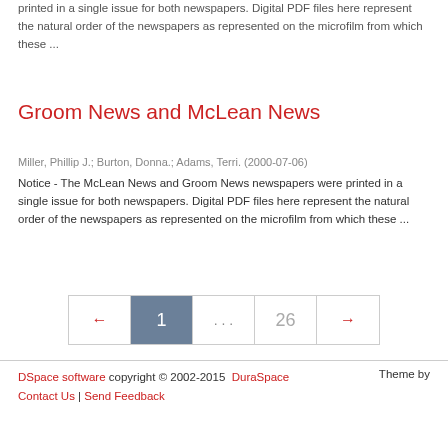printed in a single issue for both newspapers. Digital PDF files here represent the natural order of the newspapers as represented on the microfilm from which these ...
Groom News and McLean News
Miller, Phillip J.; Burton, Donna.; Adams, Terri. (2000-07-06)
Notice - The McLean News and Groom News newspapers were printed in a single issue for both newspapers. Digital PDF files here represent the natural order of the newspapers as represented on the microfilm from which these ...
← 1 ... 26 →
DSpace software copyright © 2002-2015  DuraSpace  Contact Us | Send Feedback  Theme by